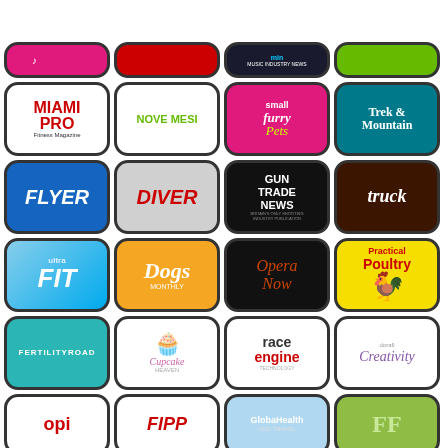[Figure (illustration): Grid of magazine app icons including Miami Pro Fitness Magazine, Nove Mesi, Small Furry Pets, Trek & Mountain, Flyer, Diver, Gun Trade News, Truck, Ultra Fit, Dogs Monthly, Opera Now, Practical Poultry, Fertility Road, Cupcake Heaven, Race Engine Technology, Dorafi Creativity, OPI, FIPP, GlobaHealth, FF]